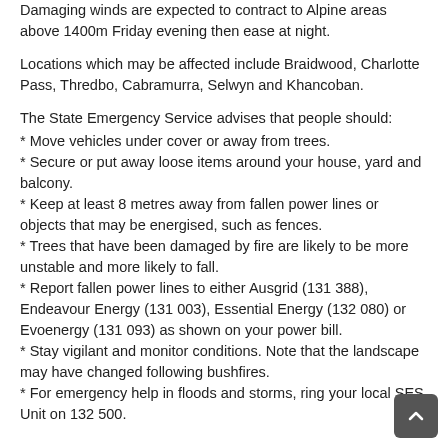Damaging winds are expected to contract to Alpine areas above 1400m Friday evening then ease at night.
Locations which may be affected include Braidwood, Charlotte Pass, Thredbo, Cabramurra, Selwyn and Khancoban.
The State Emergency Service advises that people should:
* Move vehicles under cover or away from trees.
* Secure or put away loose items around your house, yard and balcony.
* Keep at least 8 metres away from fallen power lines or objects that may be energised, such as fences.
* Trees that have been damaged by fire are likely to be more unstable and more likely to fall.
* Report fallen power lines to either Ausgrid (131 388), Endeavour Energy (131 003), Essential Energy (132 080) or Evoenergy (131 093) as shown on your power bill.
* Stay vigilant and monitor conditions. Note that the landscape may have changed following bushfires.
* For emergency help in floods and storms, ring your local SES Unit on 132 500.